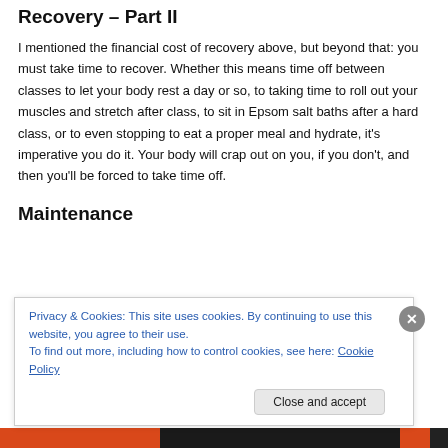Recovery – Part II
I mentioned the financial cost of recovery above, but beyond that: you must take time to recover. Whether this means time off between classes to let your body rest a day or so, to taking time to roll out your muscles and stretch after class, to sit in Epsom salt baths after a hard class, or to even stopping to eat a proper meal and hydrate, it's imperative you do it. Your body will crap out on you, if you don't, and then you'll be forced to take time off.
Maintenance
Privacy & Cookies: This site uses cookies. By continuing to use this website, you agree to their use.
To find out more, including how to control cookies, see here: Cookie Policy